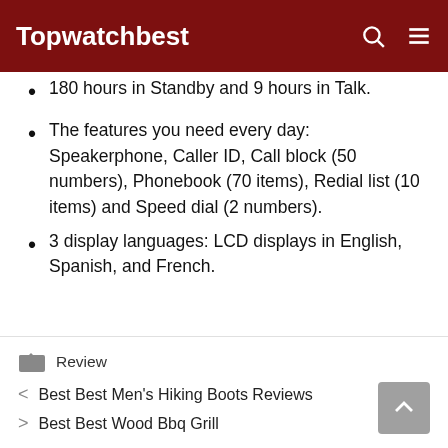Topwatchbest
180 hours in Standby and 9 hours in Talk.
The features you need every day: Speakerphone, Caller ID, Call block (50 numbers), Phonebook (70 items), Redial list (10 items) and Speed dial (2 numbers).
3 display languages: LCD displays in English, Spanish, and French.
Review
< Best Best Men's Hiking Boots Reviews
> Best Best Wood Bbq Grill